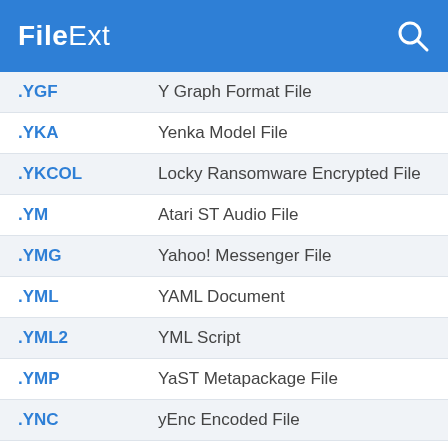FileExt
.YGF — Y Graph Format File
.YKA — Yenka Model File
.YKCOL — Locky Ransomware Encrypted File
.YM — Atari ST Audio File
.YMG — Yahoo! Messenger File
.YML — YAML Document
.YML2 — YML Script
.YMP — YaST Metapackage File
.YNC — yEnc Encoded File
.YOG — Outerra Captured Video File
.YOOKOO — Yookoo Player Playlist File